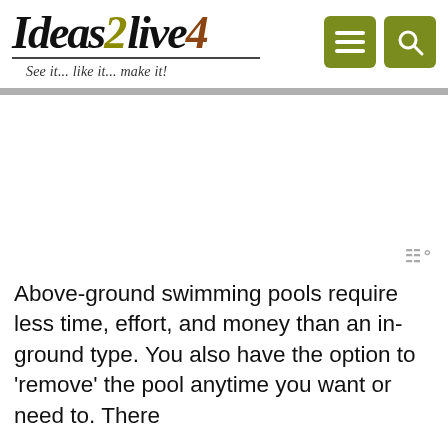[Figure (logo): Ideas2live4 logo with tagline 'See it... like it... make it!']
[Figure (other): Navigation icons: hamburger menu and search button on olive/green background]
[Figure (other): Advertisement area (blank/white space with a watermark symbol in the bottom right)]
Above-ground swimming pools require less time, effort, and money than an in-ground type. You also have the option to ‘remove’ the pool anytime you want or need to. There